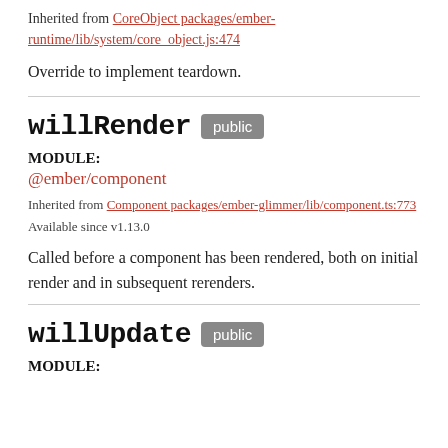Inherited from CoreObject packages/ember-runtime/lib/system/core_object.js:474
Override to implement teardown.
willRender public
MODULE:
@ember/component
Inherited from Component packages/ember-glimmer/lib/component.ts:773
Available since v1.13.0
Called before a component has been rendered, both on initial render and in subsequent rerenders.
willUpdate public
MODULE: